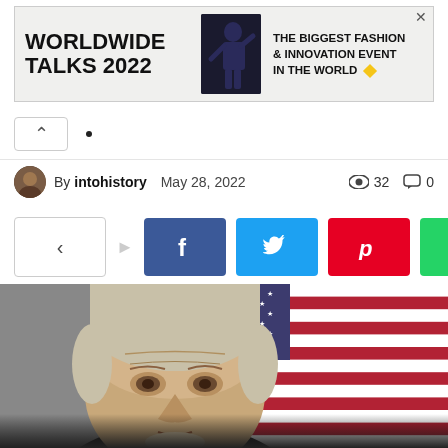[Figure (other): Advertisement banner: WORLDWIDE TALKS 2022 - THE BIGGEST FASHION & INNOVATION EVENT IN THE WORLD, with a fashion figure and yellow diamond icon]
By intohistory   May 28, 2022       32   0
[Figure (other): Social share buttons row: share icon, Facebook (f), Twitter (bird), Pinterest (p), WhatsApp (phone) buttons]
[Figure (photo): Photo of an older man with gray/blond hair in front of an American flag background]